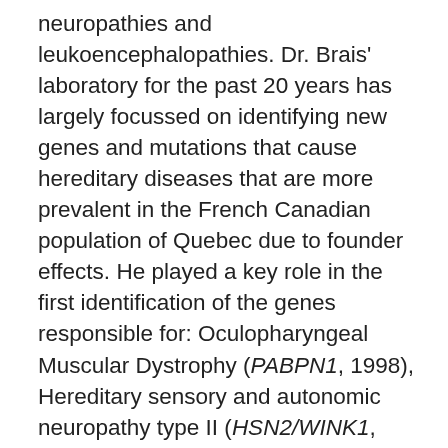neuropathies and leukoencephalopathies. Dr. Brais' laboratory for the past 20 years has largely focussed on identifying new genes and mutations that cause hereditary diseases that are more prevalent in the French Canadian population of Quebec due to founder effects. He played a key role in the first identification of the genes responsible for: Oculopharyngeal Muscular Dystrophy (PABPN1, 1998), Hereditary sensory and autonomic neuropathy type II (HSN2/WINK1, 2004), Limb Girdle Muscular dystrophy LGMD2L-anoctamin 5 (ANO5, 2010), Posterior column ataxia and retinitis pigmentosa (FLVCR1, 2010), 0PolR3-related leukodystrophy